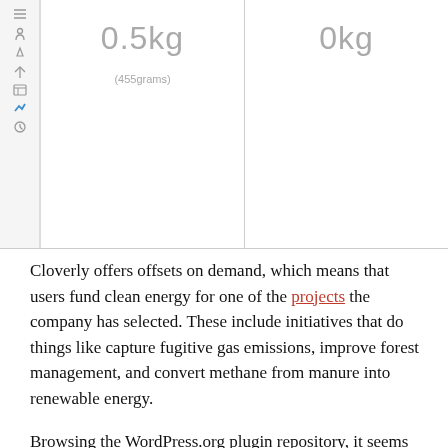[Figure (screenshot): Screenshot of a web interface table showing two columns: '0.5kg (455grams)' and '0kg', with a left sidebar showing icons.]
Cloverly offers offsets on demand, which means that users fund clean energy for one of the projects the company has selected. These include initiatives that do things like capture fugitive gas emissions, improve forest management, and convert methane from manure into renewable energy.
Browsing the WordPress.org plugin repository, it seems the platform only has a handful of plugins designed to raise users' awareness about carbon emissions. The Website Carbon plugin gives users a